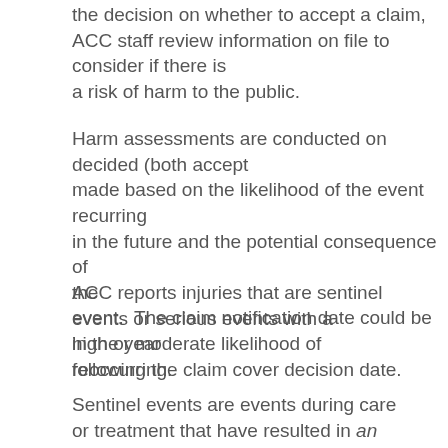the decision on whether to accept a claim, ACC staff review information on file to consider if there is a risk of harm to the public.
Harm assessments are conducted on decided (both accept made based on the likelihood of the event recurring in the future and the potential consequence of the event.  The claim notification date could be in the year following the claim cover decision date.
ACC reports injuries that are sentinel events or serious events with a high or moderate likelihood of reoccurring.
Sentinel events are events during care or treatment that have resulted in an unanticipated